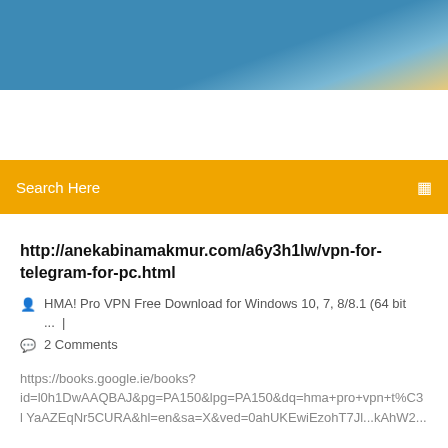[Figure (photo): Blue sky gradient header image banner]
Search Here
http://anekabinamakmur.com/a6y3h1lw/vpn-for-telegram-for-pc.html
HMA! Pro VPN Free Download for Windows 10, 7, 8/8.1 (64 bit ... |
2 Comments
https://books.google.ie/books?
id=l0h1DwAAQBAJ&pg=PA150&lpg=PA150&dq=hma+pro+vpn+t%C3...l YaAZEqNr5CURA&hl=en&sa=X&ved=0ahUKEwiEzohT7Jl...kAhW2...